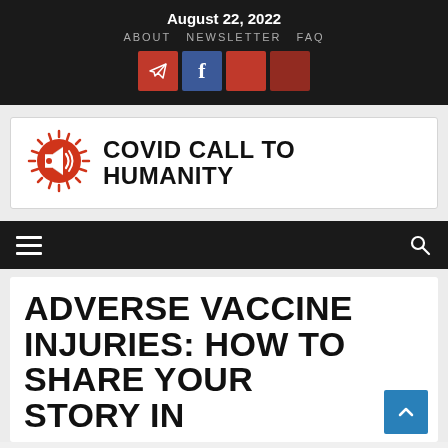August 22, 2022
ABOUT   NEWSLETTER   FAQ
[Figure (logo): Social media icon buttons: Telegram (red), Facebook (blue), red square, dark red square]
[Figure (logo): Covid Call to Humanity logo: red coronavirus megaphone icon on left, bold text COVID CALL TO HUMANITY on right]
[Figure (other): Navigation menu bar with hamburger icon on left and search icon on right on dark background]
ADVERSE VACCINE INJURIES: HOW TO SHARE YOUR STORY IN...